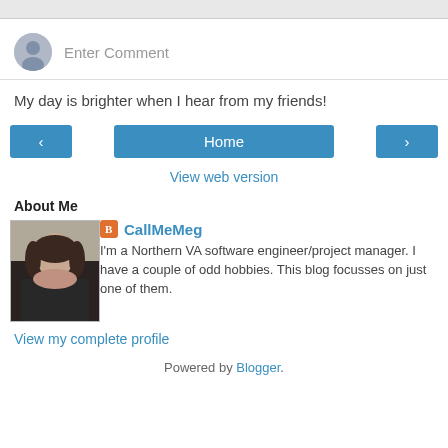Enter Comment
My day is brighter when I hear from my friends!
[Figure (screenshot): Navigation buttons: left arrow, Home, right arrow]
View web version
About Me
[Figure (photo): Profile photo of a woman with dark hair]
CallMeMeg
I'm a Northern VA software engineer/project manager. I have a couple of odd hobbies. This blog focusses on just one of them.
View my complete profile
Powered by Blogger.